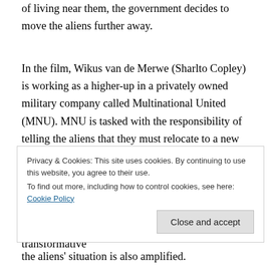of living near them, the government decides to move the aliens further away.
In the film, Wikus van de Merwe (Sharlto Copley) is working as a higher-up in a privately owned military company called Multinational United (MNU). MNU is tasked with the responsibility of telling the aliens that they must relocate to a new internment camp. Wikus is in charge of organising the relocation, and ensuring that it occurs in an orderly manner. When persuading one of the aliens to relocate, Wikus is unwittingly exposed to a strange liquid that leads to a horrific, transformative
the aliens' situation is also amplified.
Privacy & Cookies: This site uses cookies. By continuing to use this website, you agree to their use.
To find out more, including how to control cookies, see here: Cookie Policy